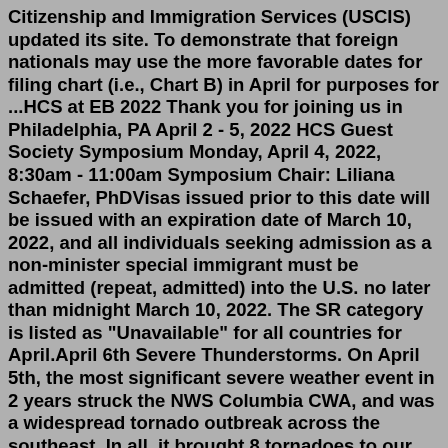Citizenship and Immigration Services (USCIS) updated its site. To demonstrate that foreign nationals may use the more favorable dates for filing chart (i.e., Chart B) in April for purposes for ...HCS at EB 2022 Thank you for joining us in Philadelphia, PA April 2 - 5, 2022 HCS Guest Society Symposium Monday, April 4, 2022, 8:30am - 11:00am Symposium Chair: Liliana Schaefer, PhDVisas issued prior to this date will be issued with an expiration date of March 10, 2022, and all individuals seeking admission as a non-minister special immigrant must be admitted (repeat, admitted) into the U.S. no later than midnight March 10, 2022. The SR category is listed as "Unavailable" for all countries for April.April 6th Severe Thunderstorms. On April 5th, the most significant severe weather event in 2 years struck the NWS Columbia CWA, and was a widespread tornado outbreak across the southeast. In all, it brought 8 tornadoes to our CWA and 66 tornadoes overall across the southeast. This included 13 strong tornadoes (EF2+ in strength) Visa Bulletin April 2022